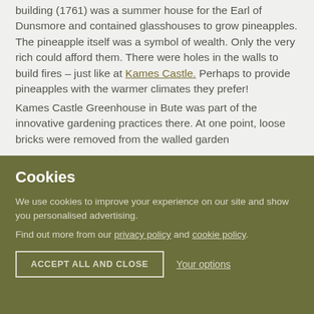building (1761) was a summer house for the Earl of Dunsmore and contained glasshouses to grow pineapples. The pineapple itself was a symbol of wealth. Only the very rich could afford them. There were holes in the walls to build fires – just like at Kames Castle. Perhaps to provide pineapples with the warmer climates they prefer!

Kames Castle Greenhouse in Bute was part of the innovative gardening practices there. At one point, loose bricks were removed from the walled garden
Cookies
We use cookies to improve your experience on our site and show you personalised advertising.
Find out more from our privacy policy and cookie policy.
ACCEPT ALL AND CLOSE
Your options